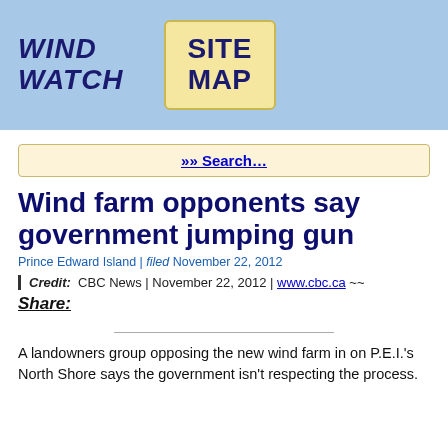WIND WATCH   SITE MAP
»» Search…
Wind farm opponents say government jumping gun
Prince Edward Island | filed November 22, 2012
| Credit:  CBC News | November 22, 2012 | www.cbc.ca ~~
Share:
A landowners group opposing the new wind farm in on P.E.I.'s North Shore says the government isn't respecting the process.